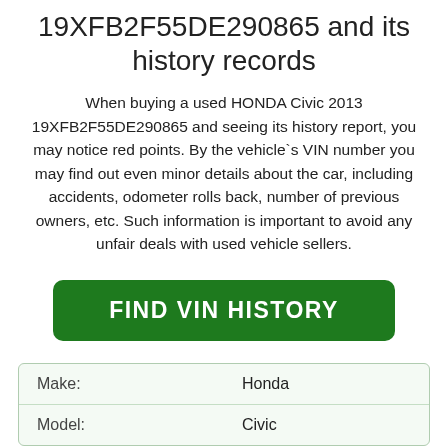19XFB2F55DE290865 and its history records
When buying a used HONDA Civic 2013 19XFB2F55DE290865 and seeing its history report, you may notice red points. By the vehicle`s VIN number you may find out even minor details about the car, including accidents, odometer rolls back, number of previous owners, etc. Such information is important to avoid any unfair deals with used vehicle sellers.
[Figure (other): Green button labeled FIND VIN HISTORY]
| Make: | Honda |
| Model: | Civic |